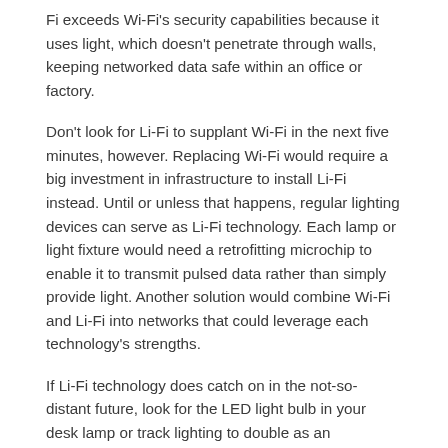Fi exceeds Wi-Fi's security capabilities because it uses light, which doesn't penetrate through walls, keeping networked data safe within an office or factory.
Don't look for Li-Fi to supplant Wi-Fi in the next five minutes, however. Replacing Wi-Fi would require a big investment in infrastructure to install Li-Fi instead. Until or unless that happens, regular lighting devices can serve as Li-Fi technology. Each lamp or light fixture would need a retrofitting microchip to enable it to transmit pulsed data rather than simply provide light. Another solution would combine Wi-Fi and Li-Fi into networks that could leverage each technology's strengths.
If Li-Fi technology does catch on in the not-so-distant future, look for the LED light bulb in your desk lamp or track lighting to double as an environmentally friendly wireless data transmission and reception device. That's a dual role that neither old-fashioned incandescent